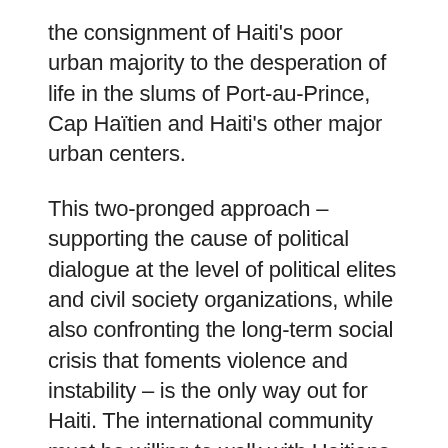the consignment of Haiti's poor urban majority to the desperation of life in the slums of Port-au-Prince, Cap Haïtien and Haiti's other major urban centers.
This two-pronged approach – supporting the cause of political dialogue at the level of political elites and civil society organizations, while also confronting the long-term social crisis that foments violence and instability – is the only way out for Haiti. The international community must be willing to walk with Haitians along both of these paths at once. The complexity of the current situation is precisely that the country's constitutional void makes it very difficult to commit the domestic